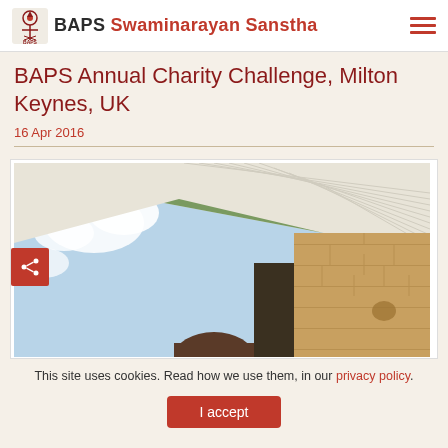BAPS Swaminarayan Sanstha
BAPS Annual Charity Challenge, Milton Keynes, UK
16 Apr 2016
[Figure (photo): Outdoor photo showing the underside of a roof structure with white paneling and a brick wall, blue sky with clouds visible to the left, and a person's head partially visible at the bottom.]
This site uses cookies. Read how we use them, in our privacy policy.
I accept